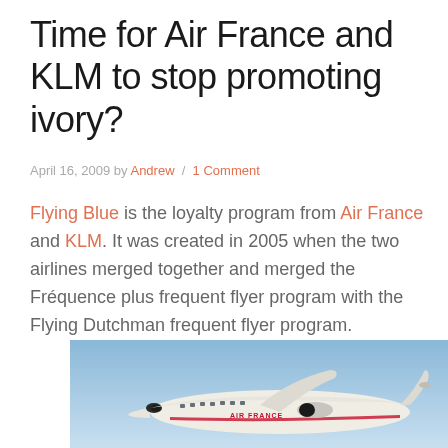Time for Air France and KLM to stop promoting ivory?
April 16, 2009 by Andrew / 1 Comment
Flying Blue is the loyalty program from Air France and KLM. It was created in 2005 when the two airlines merged together and merged the Fréquence plus frequent flyer program with the Flying Dutchman frequent flyer program.
[Figure (photo): Photo of an Air France commercial airplane (Airbus) on the ground or taxiing, viewed from the front-left side against a clear blue sky background.]